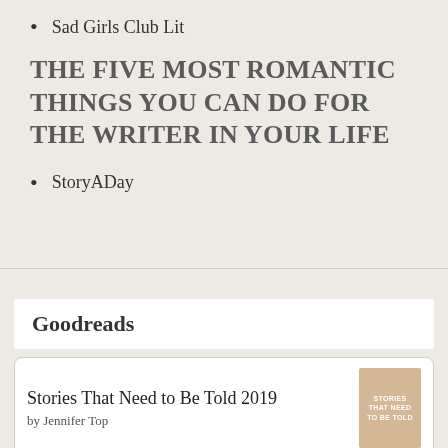Sad Girls Club Lit
THE FIVE MOST ROMANTIC THINGS YOU CAN DO FOR THE WRITER IN YOUR LIFE
StoryADay
Goodreads
Stories That Need to Be Told 2019
by Jennifer Top
The Rose of Sebastopol
by Katharine McMahon